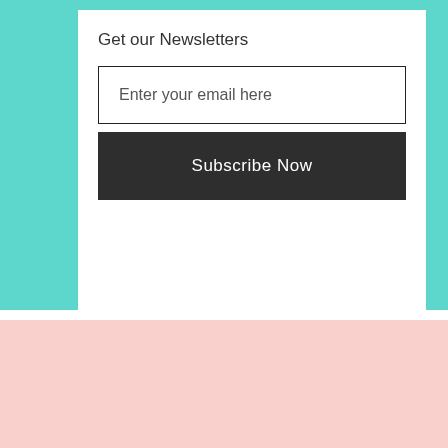Get our Newsletters
Enter your email here
Subscribe Now